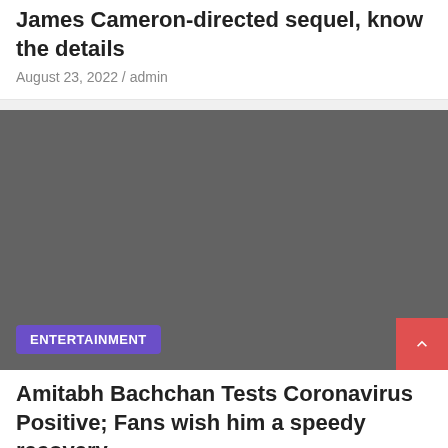James Cameron-directed sequel, know the details
August 23, 2022 / admin
[Figure (photo): Dark grey placeholder image block with ENTERTAINMENT category badge in purple at bottom left]
Amitabh Bachchan Tests Coronavirus Positive; Fans wish him a speedy recovery
August 23, 2022 / admin
[Figure (photo): Partial image visible at the very bottom of the page]